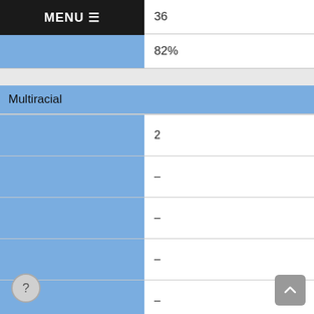|  |  |
| --- | --- |
|  | 36 |
|  | 82% |
| Multiracial |  |
|  | 2 |
|  | – |
|  | – |
|  | – |
|  | – |
|  | – |
|  | – |
|  | – |
|  | – |